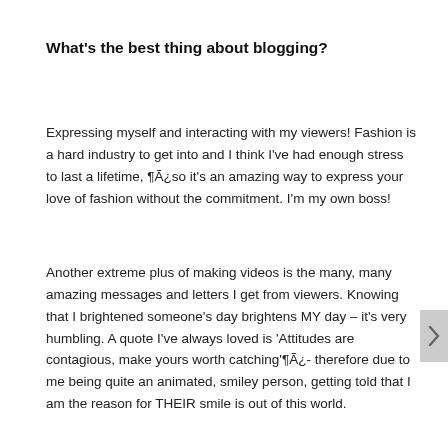What's the best thing about blogging?
Expressing myself and interacting with my viewers! Fashion is a hard industry to get into and I think I've had enough stress to last a lifetime, ÂŸÃ¿so it's an amazing way to express your love of fashion without the commitment. I'm my own boss!
Another extreme plus of making videos is the many, many amazing messages and letters I get from viewers. Knowing that I brightened someone's day brightens MY day – it's very humbling. A quote I've always loved is 'Attitudes are contagious, make yours worth catching'ÂŸÃ¿- therefore due to me being quite an animated, smiley person, getting told that I am the reason for THEIR smile is out of this world.